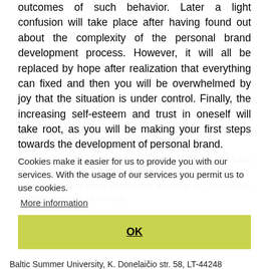outcomes of such behavior. Later a light confusion will take place after having found out about the complexity of the personal brand development process. However, it will all be replaced by hope after realization that everything can fixed and then you will be overwhelmed by joy that the situation is under control. Finally, the increasing self-esteem and trust in oneself will take root, as you will be making your first steps towards the development of personal brand.
The course will take place on July 15-26 at Vytautas Magnus University (V. Putvinskio g. 23, Kaunas). Registration and more information available at the website of Baltic Summer University.
Cookies make it easier for us to provide you with our services. With the usage of our services you permit us to use cookies.
More information
OK
Baltic Summer University, K. Donelaičio str. 58, LT-44248